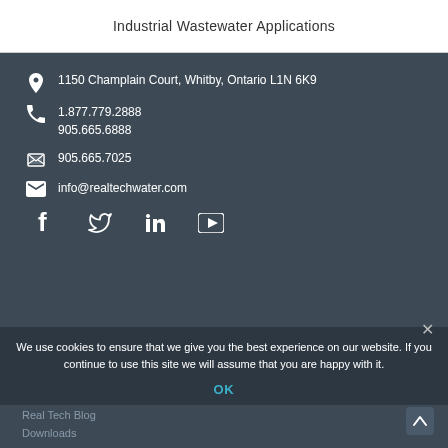Industrial Wastewater Applications
1150 Champlain Court, Whitby, Ontario L1N 6K9
1.877.779.2888
905.665.6888
905.665.7025
info@realtechwater.com
[Figure (infographic): Social media icons: Facebook, Twitter, LinkedIn, YouTube]
We use cookies to ensure that we give you the best experience on our website. If you continue to use this site we will assume that you are happy with it.
OK
Real Tech Blog
Downloads